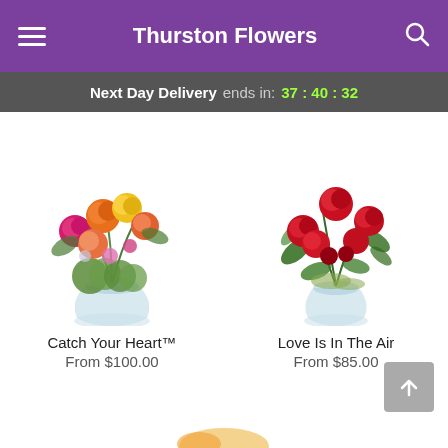Thurston Flowers
Next Day Delivery ends in: 37 : 40 : 32
[Figure (photo): Colorful mixed rose bouquet in a clear glass bowl vase — Catch Your Heart]
Catch Your Heart™
From $100.00
[Figure (photo): Red roses arrangement in a clear glass vase — Love Is In The Air]
Love Is In The Air
From $85.00